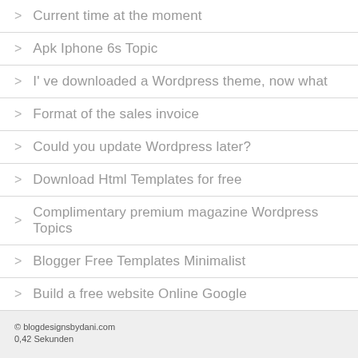Current time at the moment
Apk Iphone 6s Topic
I' ve downloaded a Wordpress theme, now what
Format of the sales invoice
Could you update Wordpress later?
Download Html Templates for free
Complimentary premium magazine Wordpress Topics
Blogger Free Templates Minimalist
Build a free website Online Google
© blogdesignsbydani.com
0,42 Sekunden
Impressum
Datenschutzerklärung